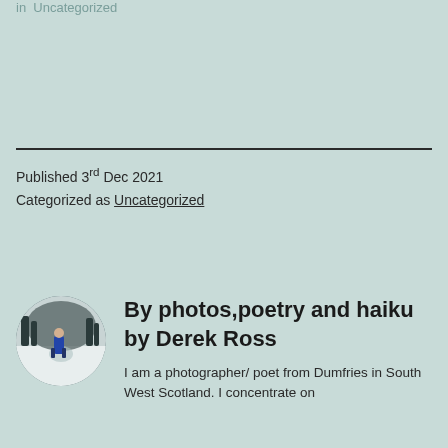in  Uncategorized
Published 3rd Dec 2021
Categorized as Uncategorized
By photos,poetry and haiku by Derek Ross
I am a photographer/ poet from Dumfries in South West Scotland. I concentrate on